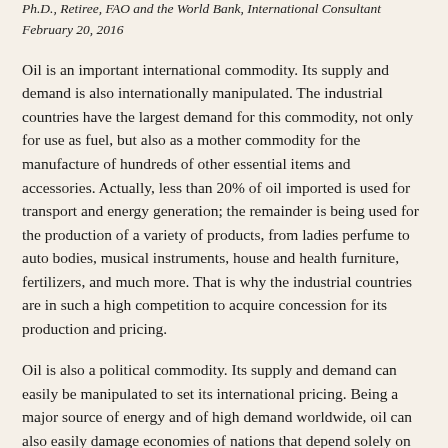Ph.D., Retiree, FAO and the World Bank, International Consultant
February 20, 2016
Oil is an important international commodity. Its supply and demand is also internationally manipulated. The industrial countries have the largest demand for this commodity, not only for use as fuel, but also as a mother commodity for the manufacture of hundreds of other essential items and accessories. Actually, less than 20% of oil imported is used for transport and energy generation; the remainder is being used for the production of a variety of products, from ladies perfume to auto bodies, musical instruments, house and health furniture, fertilizers, and much more. That is why the industrial countries are in such a high competition to acquire concession for its production and pricing.
Oil is also a political commodity. Its supply and demand can easily be manipulated to set its international pricing. Being a major source of energy and of high demand worldwide, oil can also easily damage economies of nations that depend solely on oil for their annual budgetary needs.Further, small oil producers have no role in deciding the price of oil they pour into the market. Even OPEC, the Organization of Oil...